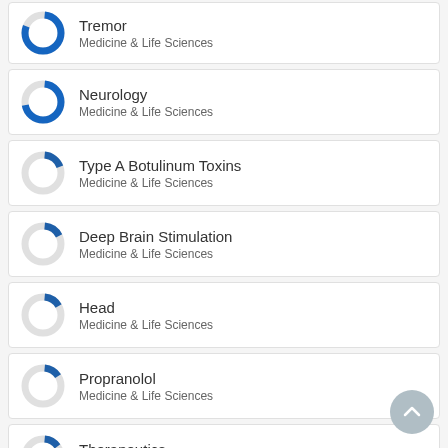Tremor
Medicine & Life Sciences
Neurology
Medicine & Life Sciences
Type A Botulinum Toxins
Medicine & Life Sciences
Deep Brain Stimulation
Medicine & Life Sciences
Head
Medicine & Life Sciences
Propranolol
Medicine & Life Sciences
Therapeutics
Medicine & Life Sciences